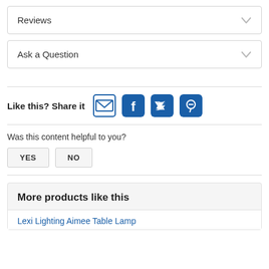Reviews
Ask a Question
Like this? Share it
Was this content helpful to you?
YES
NO
More products like this
Lexi Lighting Aimee Table Lamp